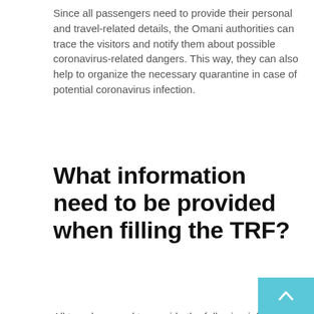Since all passengers need to provide their personal and travel-related details, the Omani authorities can trace the visitors and notify them about possible coronavirus-related dangers. This way, they can also help to organize the necessary quarantine in case of potential coronavirus infection.
What information need to be provided when filling the TRF?
All travelers need to provide the following information to fill out the TRF correctly:
contact number
basic personal data
accommodation address in Oman
type of visa
details regarding arrival time and name of the arrival airport
flight number